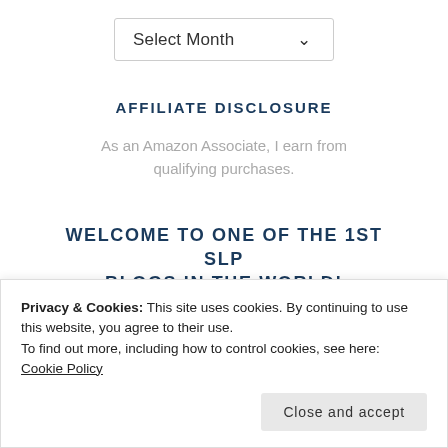[Figure (screenshot): Dropdown select box with 'Select Month' text and a chevron arrow]
AFFILIATE DISCLOSURE
As an Amazon Associate, I earn from qualifying purchases.
WELCOME TO ONE OF THE 1ST SLP BLOGS IN THE WORLD!
Privacy & Cookies: This site uses cookies. By continuing to use this website, you agree to their use.
To find out more, including how to control cookies, see here:
Cookie Policy
[Figure (screenshot): Close and accept button for cookie banner]
[Figure (illustration): Blue decorative stripe at the bottom of the page]